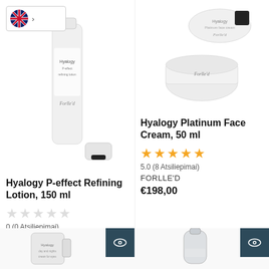[Figure (screenshot): UK flag icon inside a bordered box with a right arrow, indicating language/region selector]
[Figure (photo): Forlle'd Hyalogy P-effect Refining Lotion 150ml bottle with small cap on white background]
Hyalogy P-effect Refining Lotion, 150 ml
0 (0 Atsiliepimai)
FORLLE'D
from €3,60
[Figure (photo): Forlle'd Hyalogy Platinum Face Cream 50ml white jar with lid open on white background]
Hyalogy Platinum Face Cream, 50 ml
5.0 (8 Atsiliepimai)
FORLLE'D
€198,00
[Figure (photo): Hyalogy day and night cream for eyes tube with quick-view eye icon button]
[Figure (photo): Hyalogy product bottle/serum with quick-view eye icon button]